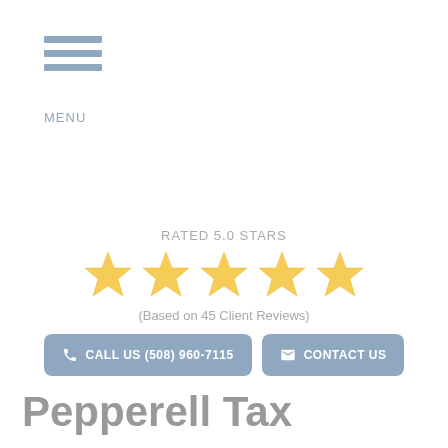MENU
RATED 5.0 STARS
[Figure (other): Five gold stars rating display]
(Based on 45 Client Reviews)
CALL US (508) 960-7115
CONTACT US
Pepperell Tax